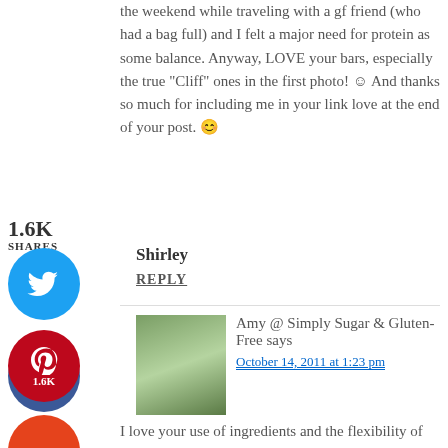the weekend while traveling with a gf friend (who had a bag full) and I felt a major need for protein as some balance. Anyway, LOVE your bars, especially the true “Cliff” ones in the first photo! ☺ And thanks so much for including me in your link love at the end of your post. 😊
1.6K SHARES
[Figure (infographic): Facebook share button circle, blue, showing number 10]
[Figure (infographic): Twitter share button circle, light blue]
[Figure (infographic): Pinterest share button circle, red, showing 1.6K]
[Figure (infographic): Yummly share button circle, orange, showing yum logo]
Shirley
REPLY
Amy @ Simply Sugar & Gluten-Free says
October 14, 2011 at 1:23 pm
I love your use of ingredients and the flexibility of this recipe. You really helped people understand that in this case, they can make this to suit their needs. Thanks so much for including my chewy